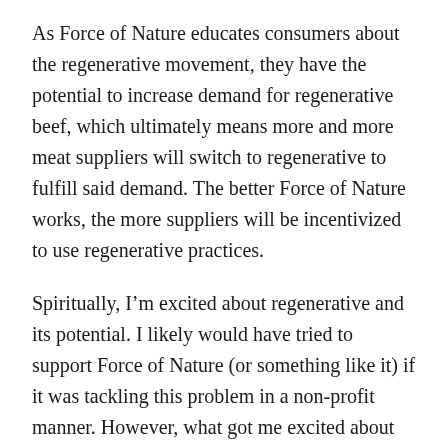As Force of Nature educates consumers about the regenerative movement, they have the potential to increase demand for regenerative beef, which ultimately means more and more meat suppliers will switch to regenerative to fulfill said demand. The better Force of Nature works, the more suppliers will be incentivized to use regenerative practices.
Spiritually, I’m excited about regenerative and its potential. I likely would have tried to support Force of Nature (or something like it) if it was tackling this problem in a non-profit manner. However, what got me excited about them as an investment was the team and the market.
The meat/protein market is huge: something like $1.2 trillion is spent annually on meat. If Force of Nature can